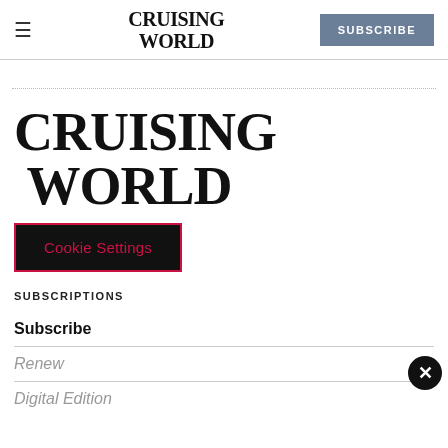☰  CRUISING WORLD  SUBSCRIBE
[Figure (logo): Cruising World large logo text centered in main content area]
Cookie Settings
SUBSCRIPTIONS
Subscribe
Renew
Digital Edition